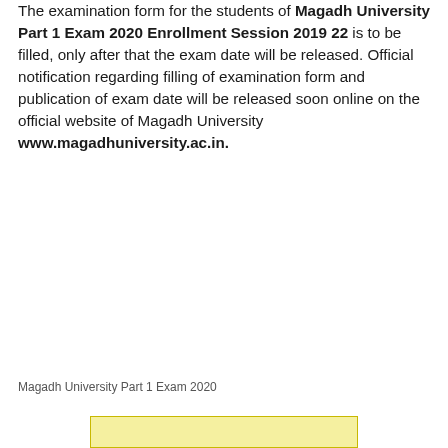The examination form for the students of Magadh University Part 1 Exam 2020 Enrollment Session 2019 22 is to be filled, only after that the exam date will be released. Official notification regarding filling of examination form and publication of exam date will be released soon online on the official website of Magadh University www.magadhuniversity.ac.in.
Magadh University Part 1 Exam 2020